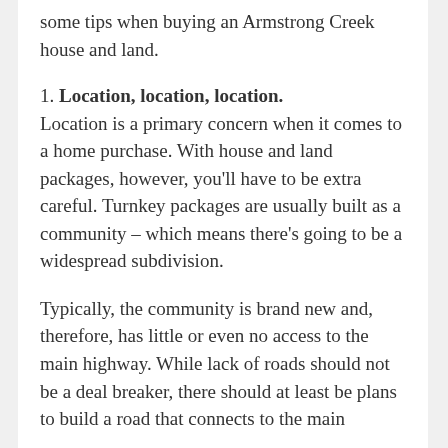some tips when buying an Armstrong Creek house and land.
1. Location, location, location. Location is a primary concern when it comes to a home purchase. With house and land packages, however, you'll have to be extra careful. Turnkey packages are usually built as a community – which means there's going to be a widespread subdivision.
Typically, the community is brand new and, therefore, has little or even no access to the main highway. While lack of roads should not be a deal breaker, there should at least be plans to build a road that connects to the main